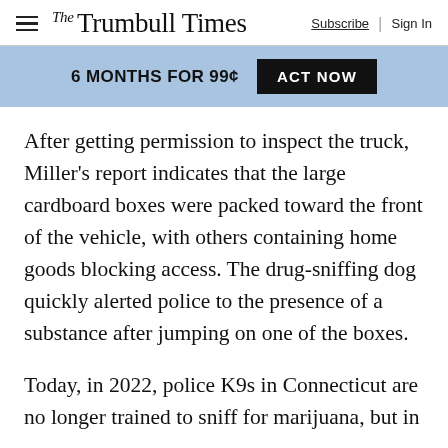The Trumbull Times  Subscribe  Sign In
6 MONTHS FOR 99¢  ACT NOW
After getting permission to inspect the truck, Miller's report indicates that the large cardboard boxes were packed toward the front of the vehicle, with others containing home goods blocking access. The drug-sniffing dog quickly alerted police to the presence of a substance after jumping on one of the boxes.
Today, in 2022, police K9s in Connecticut are no longer trained to sniff for marijuana, but in